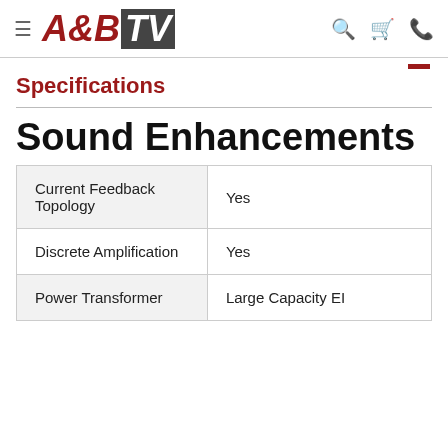A&B TV
Specifications
Sound Enhancements
|  |  |
| --- | --- |
| Current Feedback Topology | Yes |
| Discrete Amplification | Yes |
| Power Transformer | Large Capacity EI |